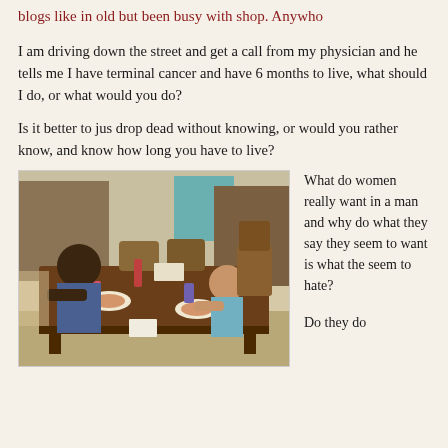blogs like in old but been busy with shop. Anywho
I am driving down the street and get a call from my physician and he tells me I have terminal cancer and have 6 months to live, what should I do, or what would you do?
Is it better to jus drop dead without knowing, or would you rather know, and know how long you have to live?
[Figure (photo): A photo of two people sitting at a wooden dining table eating, with a young child on the right side. The setting appears to be a home dining room.]
What do women really want in a man and why do what they say they seem to want is what the seem to hate?
Do they do